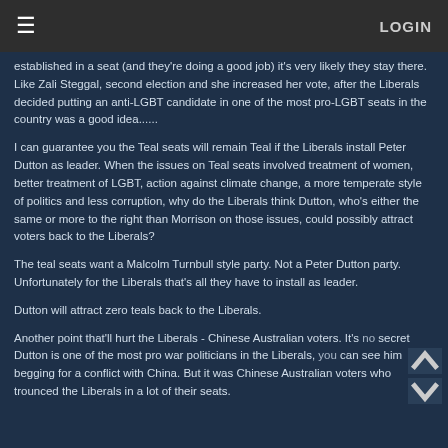≡   LOGIN
established in a seat (and they're doing a good job) it's very likely they stay there. Like Zali Steggal, second election and she increased her vote, after the Liberals decided putting an anti-LGBT candidate in one of the most pro-LGBT seats in the country was a good idea......
I can guarantee you the Teal seats will remain Teal if the Liberals install Peter Dutton as leader. When the issues on Teal seats involved treatment of women, better treatment of LGBT, action against climate change, a more temperate style of politics and less corruption, why do the Liberals think Dutton, who's either the same or more to the right than Morrison on those issues, could possibly attract voters back to the Liberals?
The teal seats want a Malcolm Turnbull style party. Not a Peter Dutton party. Unfortunately for the Liberals that's all they have to install as leader.
Dutton will attract zero teals back to the Liberals.
Another point that'll hurt the Liberals - Chinese Australian voters. It's no secret Dutton is one of the most pro war politicians in the Liberals, you can see him begging for a conflict with China. But it was Chinese Australian voters who trounced the Liberals in a lot of their seats.